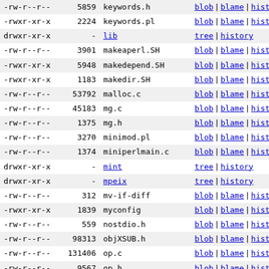| permissions | size | name | actions |
| --- | --- | --- | --- |
| -rw-r--r-- | 5859 | keywords.h | blob | blame | history | raw |
| -rwxr-xr-x | 2224 | keywords.pl | blob | blame | history | raw |
| drwxr-xr-x | - | lib | tree | history |
| -rw-r--r-- | 3901 | makeaperl.SH | blob | blame | history | raw |
| -rwxr-xr-x | 5948 | makedepend.SH | blob | blame | history | raw |
| -rwxr-xr-x | 1183 | makedir.SH | blob | blame | history | raw |
| -rw-r--r-- | 53792 | malloc.c | blob | blame | history | raw |
| -rw-r--r-- | 45183 | mg.c | blob | blame | history | raw |
| -rw-r--r-- | 1375 | mg.h | blob | blame | history | raw |
| -rw-r--r-- | 3270 | minimod.pl | blob | blame | history | raw |
| -rw-r--r-- | 1374 | miniperlmain.c | blob | blame | history | raw |
| drwxr-xr-x | - | mint | tree | history |
| drwxr-xr-x | - | mpeix | tree | history |
| -rw-r--r-- | 312 | mv-if-diff | blob | blame | history | raw |
| -rwxr-xr-x | 1839 | myconfig | blob | blame | history | raw |
| -rw-r--r-- | 559 | nostdio.h | blob | blame | history | raw |
| -rw-r--r-- | 98313 | objXSUB.h | blob | blame | history | raw |
| -rw-r--r-- | 131406 | op.c | blob | blame | history | raw |
| -rw-r--r-- | 9567 | op.h | blob | blame | history | raw |
| -rw-r--r-- | 38425 | opcode.h | blob | blame | history | raw |
| -rwxr-xr-x | 17667 | opcode.pl | blob | blame | history | raw |
| drwxr-xr-x | - | os2 | tree | history |
| -rw-r--r-- | 2036 | patchlevel.h | blob | blame | history | raw |
| -rw-r--r-- | 77942 | perl.c | blob | blame | history | raw |
| -rw-r--r-- | 75435 | perl.h | blob | blame | history | raw |